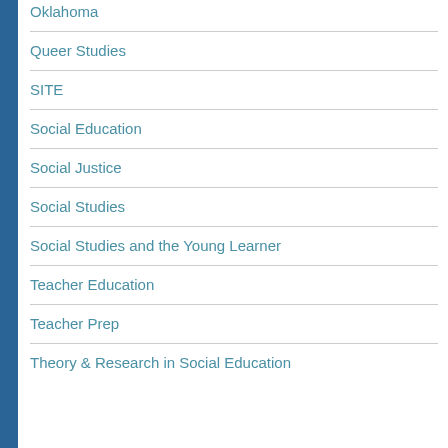Oklahoma
Queer Studies
SITE
Social Education
Social Justice
Social Studies
Social Studies and the Young Learner
Teacher Education
Teacher Prep
Theory & Research in Social Education